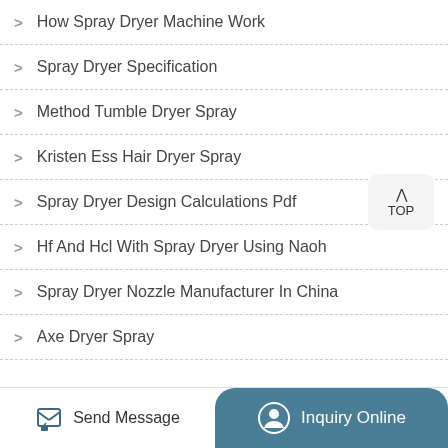How Spray Dryer Machine Work
Spray Dryer Specification
Method Tumble Dryer Spray
Kristen Ess Hair Dryer Spray
Spray Dryer Design Calculations Pdf
Hf And Hcl With Spray Dryer Using Naoh
Spray Dryer Nozzle Manufacturer In China
Axe Dryer Spray
Send Message   Inquiry Online